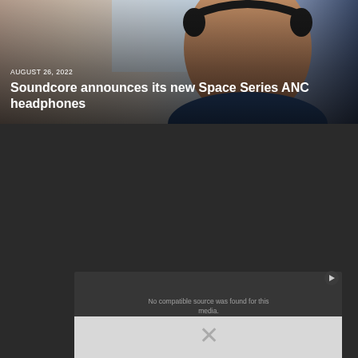[Figure (photo): Person wearing black over-ear headphones, side profile view, with a light blue/grey background. The person appears to be smiling slightly.]
AUGUST 26, 2022
Soundcore announces its new Space Series ANC headphones
[Figure (screenshot): Dark section of a webpage with a video player area showing 'No compatible source was found for this media.' message, and a close button. Below is a light grey bar with an X mark.]